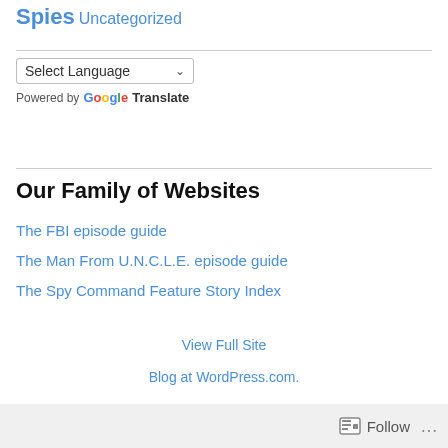Spies Uncategorized
Select Language (dropdown)
Powered by Google Translate
Our Family of Websites
The FBI episode guide
The Man From U.N.C.L.E. episode guide
The Spy Command Feature Story Index
View Full Site
Blog at WordPress.com.
Follow ...